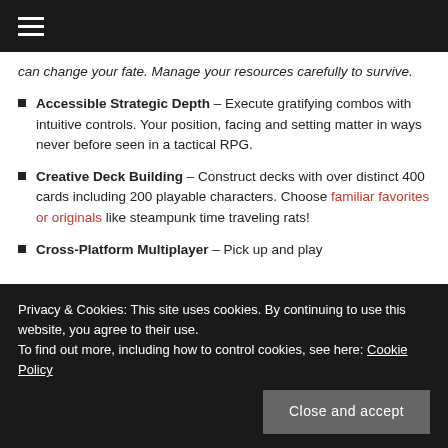☰ (navigation menu icon)
can change your fate. Manage your resources carefully to survive.
Accessible Strategic Depth – Execute gratifying combos with intuitive controls. Your position, facing and setting matter in ways never before seen in a tactical RPG.
Creative Deck Building – Construct decks with over distinct 400 cards including 200 playable characters. Choose familiar favorites or originals like steampunk time traveling rats!
Cross-Platform Multiplayer – Pick up and play
Privacy & Cookies: This site uses cookies. By continuing to use this website, you agree to their use.
To find out more, including how to control cookies, see here: Cookie Policy
Close and accept
chat directly with creator Ross Przybylski on Discord and Twitch.